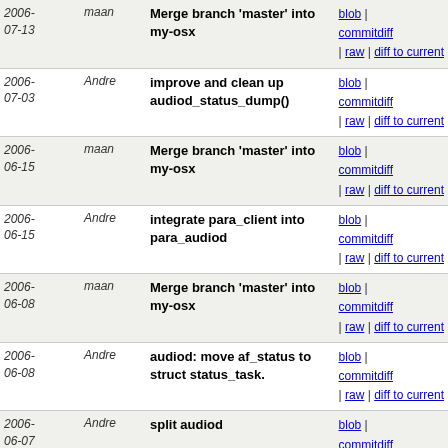| Date | Author | Message | Links |
| --- | --- | --- | --- |
| 2006-07-13 | maan | Merge branch 'master' into my-osx | blob | commitdiff | raw | diff to current |
| 2006-07-03 | Andre | improve and clean up audiod_status_dump() | blob | commitdiff | raw | diff to current |
| 2006-06-15 | maan | Merge branch 'master' into my-osx | blob | commitdiff | raw | diff to current |
| 2006-06-15 | Andre | integrate para_client into para_audiod | blob | commitdiff | raw | diff to current |
| 2006-06-08 | maan | Merge branch 'master' into my-osx | blob | commitdiff | raw | diff to current |
| 2006-06-08 | Andre | audiod: move af_status to struct status_task. | blob | commitdiff | raw | diff to current |
| 2006-06-07 | Andre | split audiod | blob | commitdiff | raw | diff to current |
| 2006-05-12 | Andre | Merge branch 'master' into aac | blob | commitdiff | raw | diff to current |
| 2006-05-10 | Andre | Merge branch 'master' into aac | blob | commitdiff | raw | diff to current |
| 2006-05-09 | Andre | Merge branch 'master' into aac | blob | commitdiff | raw | diff to current |
| 2006- | Andre | Merge branch 'master' into aac | blob | |